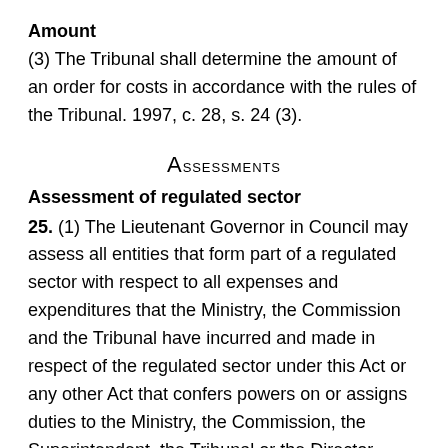Amount
(3) The Tribunal shall determine the amount of an order for costs in accordance with the rules of the Tribunal. 1997, c. 28, s. 24 (3).
Assessments
Assessment of regulated sector
25. (1) The Lieutenant Governor in Council may assess all entities that form part of a regulated sector with respect to all expenses and expenditures that the Ministry, the Commission and the Tribunal have incurred and made in respect of the regulated sector under this Act or any other Act that confers powers on or assigns duties to the Ministry, the Commission, the Superintendent, the Tribunal or the Director. 1997,